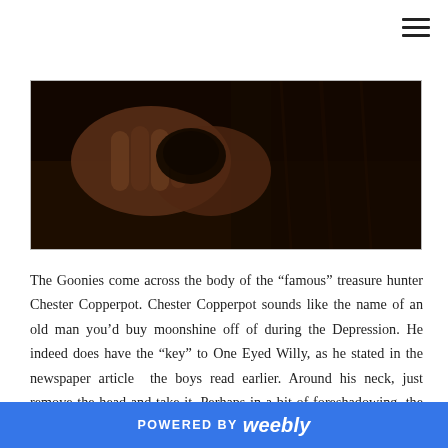[Figure (photo): Dark photograph showing hands holding or examining a dark object, likely a skull or artifact, with shadowy background textures.]
The Goonies come across the body of the "famous" treasure hunter Chester Copperpot. Chester Copperpot sounds like the name of an old man you'd buy moonshine off of during the Depression. He indeed does have the "key" to One Eyed Willy, as he stated in the newspaper article  the boys read earlier. Around his neck, just remove the head and take it. Perhaps in a bit of foreshadowing, the name Copperpot denotes what lies ahead of the group, a place with copper wishes. Ironically, the very place the group uses the "key" from Copperpot. The wishing
POWERED BY weebly